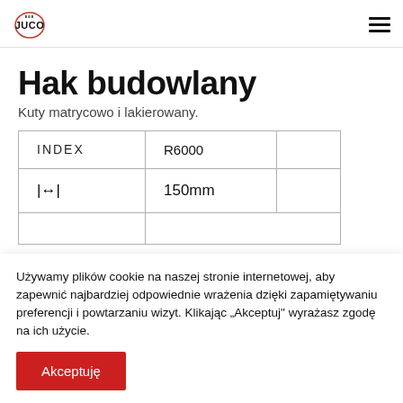JUCO
Hak budowlany
Kuty matrycowo i lakierowany.
| INDEX | R6000 |  |
| ↔ | 150mm |  |
Używamy plików cookie na naszej stronie internetowej, aby zapewnić najbardziej odpowiednie wrażenia dzięki zapamiętywaniu preferencji i powtarzaniu wizyt. Klikając „Akceptuj" wyrażasz zgodę na ich użycie.
Akceptuję